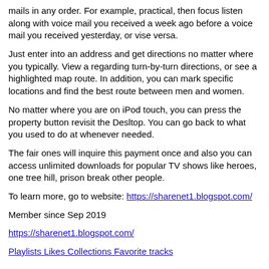mails in any order. For example, practical, then focus listen along with voice mail you received a week ago before a voice mail you received yesterday, or vise versa.
Just enter into an address and get directions no matter where you typically. View a regarding turn-by-turn directions, or see a highlighted map route. In addition, you can mark specific locations and find the best route between men and women.
No matter where you are on iPod touch, you can press the property button revisit the Desltop. You can go back to what you used to do at whenever needed.
The fair ones will inquire this payment once and also you can access unlimited downloads for popular TV shows like heroes, one tree hill, prison break other people.
To learn more, go to website: https://sharenet1.blogspot.com/
Member since Sep 2019
https://sharenet1.blogspot.com/
Playlists Likes Collections Favorite tracks